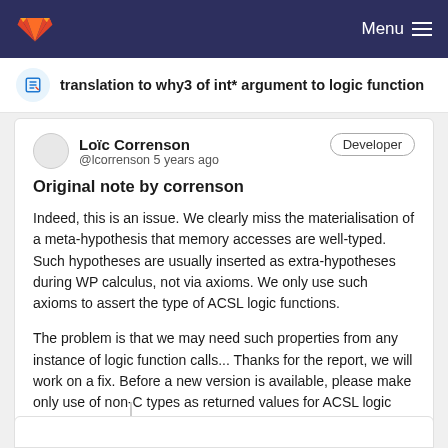Menu
translation to why3 of int* argument to logic function
Loïc Correnson @lcorrenson 5 years ago
Original note by correnson
Indeed, this is an issue. We clearly miss the materialisation of a meta-hypothesis that memory accesses are well-typed. Such hypotheses are usually inserted as extra-hypotheses during WP calculus, not via axioms. We only use such axioms to assert the type of ACSL logic functions.
The problem is that we may need such properties from any instance of logic function calls... Thanks for the report, we will work on a fix. Before a new version is available, please make only use of non-C types as returned values for ACSL logic functions.